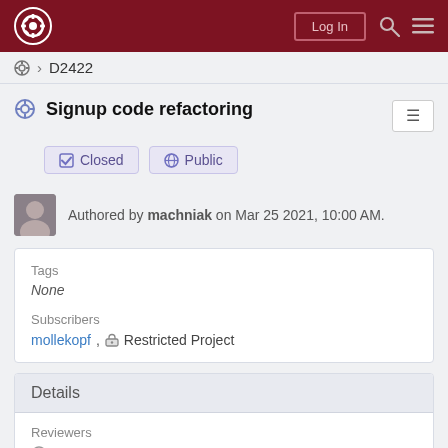Log In
⚙ › D2422
Signup code refactoring
✔ Closed   🌐 Public
Authored by machniak on Mar 25 2021, 10:00 AM.
Tags
None
Subscribers
mollekopf, 🔒Restricted Project
Details
Reviewers
vanmeeuwen